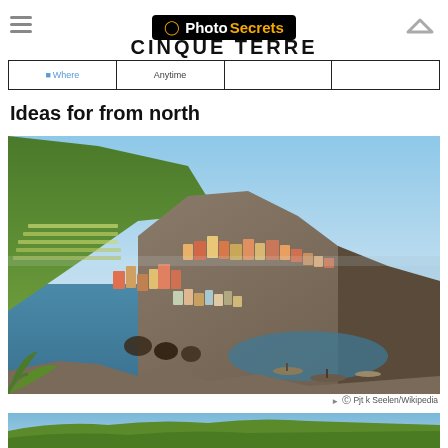PhotoSecrets — CINQUE TERRE
Ideas for from north
[Figure (photo): Aerial/elevated view of Manarola or Manarola-like Cinque Terre village clinging to rocky coastal cliffs above the Mediterranean Sea, with colorful stacked buildings, terraced hillside vineyards, and a small harbor with boats]
© Pjt k Seelen/Wikipedia
[Figure (photo): Partial bottom strip showing another Cinque Terre coastal scene with green hillside]